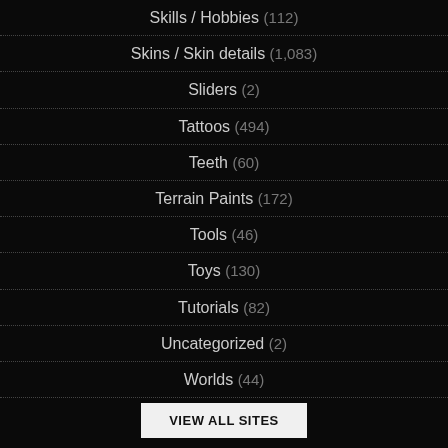Skills / Hobbies (112)
Skins / Skin details (1,083)
Sliders (2)
Tattoos (494)
Teeth (60)
Terrain Paints (172)
Tools (46)
Toys (130)
Tutorials (82)
Uncategorized (2)
Worlds (44)
VIEW ALL SITES